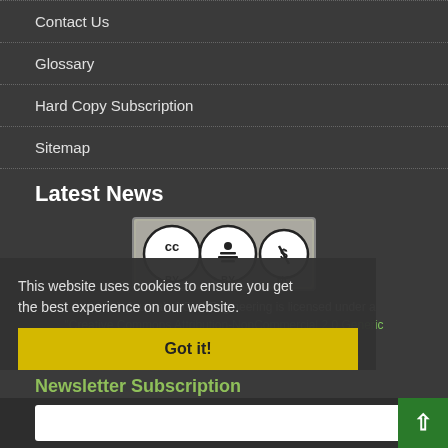Contact Us
Glossary
Hard Copy Subscription
Sitemap
Latest News
[Figure (logo): Creative Commons BY-NC license badge]
Amirkabir Journal of Civil Engineering is licensed under a
"Creative Commons Attribution-NonCommercial 2.0 Generic (CC BY-NC 2.0)"
Amirkabir University of Technology (Tehran Polytechnic)
Newsletter Subscription
Subscribe to the journal newsletter and receive the latest news and updates
This website uses cookies to ensure you get the best experience on our website.
Got it!